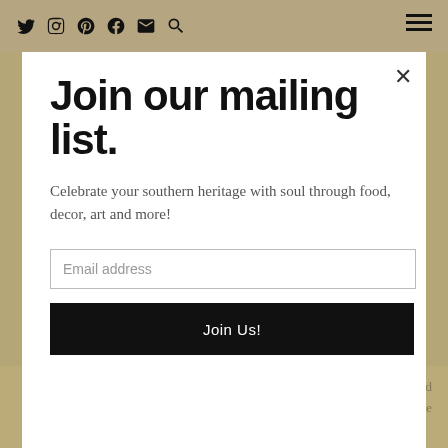Twitter Instagram Pinterest Facebook Email Search [hamburger menu]
Join our mailing list.
Celebrate your southern heritage with soul through food, decor, art and more!
Email address
Join Us!
home decor and southern. When I am not running around doing fun stuff for Black Southern Belle, I live in antique stores and